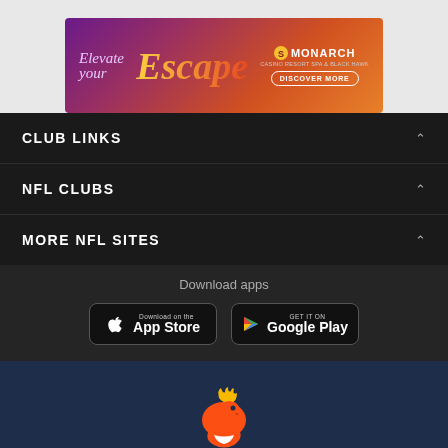[Figure (illustration): Advertisement banner: 'Elevate your Escape' with Monarch branding and 'DISCOVER MORE' button, gradient purple to orange background]
CLUB LINKS
NFL CLUBS
MORE NFL SITES
Download apps
[Figure (illustration): App Store download button (Apple)]
[Figure (illustration): Google Play download button]
[Figure (logo): Denver Broncos horse logo on dark navy background]
[Figure (illustration): Social media icons: Facebook, Twitter, Email, Link]